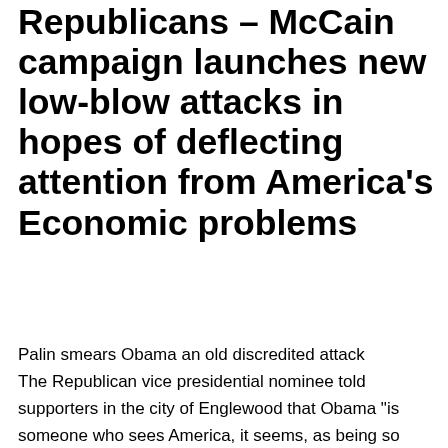Republicans – McCain campaign launches new low-blow attacks in hopes of deflecting attention from America's Economic problems
Palin smears Obama an old discredited attack The Republican vice presidential nominee told supporters in the city of Englewood that Obama "is someone who sees America, it seems, as being so imperfect that he's
Privacy & Cookies: This site uses cookies. By continuing to use this website, you agree to their use.
To find out more, including how to control cookies, see here: Cookie Policy

Close and accept